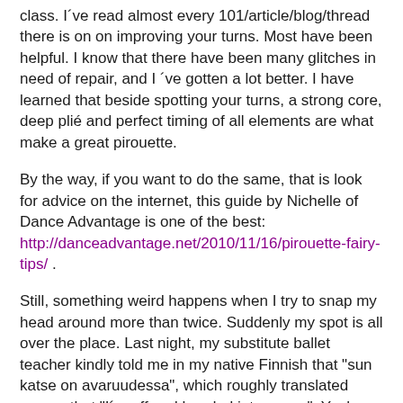class. I´ve read almost every 101/article/blog/thread there is on on improving your turns. Most have been helpful. I know that there have been many glitches in need of repair, and I ´ve gotten a lot better. I have learned that beside spotting your turns, a strong core, deep plié and perfect timing of all elements are what make a great pirouette.
By the way, if you want to do the same, that is look for advice on the internet, this guide by Nichelle of Dance Advantage is one of the best: http://danceadvantage.net/2010/11/16/pirouette-fairy-tips/ .
Still, something weird happens when I try to snap my head around more than twice. Suddenly my spot is all over the place. Last night, my substitute ballet teacher kindly told me in my native Finnish that "sun katse on avaruudessa", which roughly translated means that "I´m off and headed into space". Yeah, space.. and spotting.. my final frontier. It was funny, really, because aside from being a total ballet dork, I ´m also a bit of scifi-nerd. For me, the best drama truly happens in space. But spacey pirouettes? Not so much.